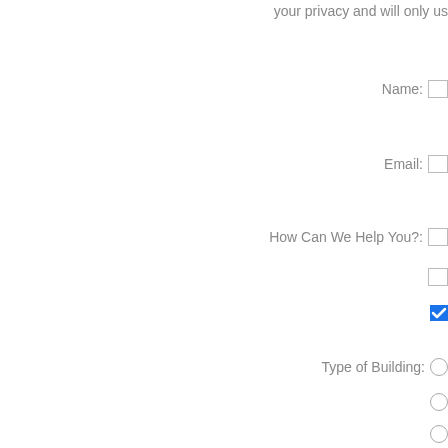your privacy and will only us
Name:
Email:
How Can We Help You?:
Type of Building:
Building Address:
City:
Zip Code:
Phone:
Company:
Message: